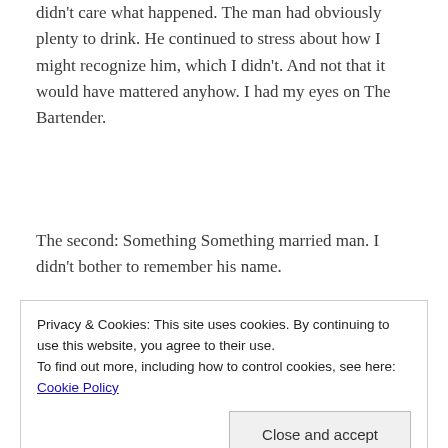didn't care what happened. The man had obviously plenty to drink. He continued to stress about how I might recognize him, which I didn't. And not that it would have mattered anyhow. I had my eyes on The Bartender.
The second: Something Something married man. I didn't bother to remember his name.
“Please tell me you’re not really here to watch the basketball game, right?” he said, gesturing to the game I was distracted by.
Privacy & Cookies: This site uses cookies. By continuing to use this website, you agree to their use.
To find out more, including how to control cookies, see here: Cookie Policy
Close and accept
The Bartender!!” he bellowed. Then he went on to